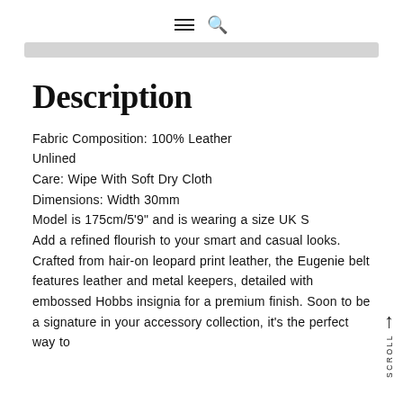☰ 🔍
Description
Fabric Composition: 100% Leather
Unlined
Care: Wipe With Soft Dry Cloth
Dimensions: Width 30mm
Model is 175cm/5'9" and is wearing a size UK S
Add a refined flourish to your smart and casual looks. Crafted from hair-on leopard print leather, the Eugenie belt features leather and metal keepers, detailed with embossed Hobbs insignia for a premium finish. Soon to be a signature in your accessory collection, it's the perfect way to